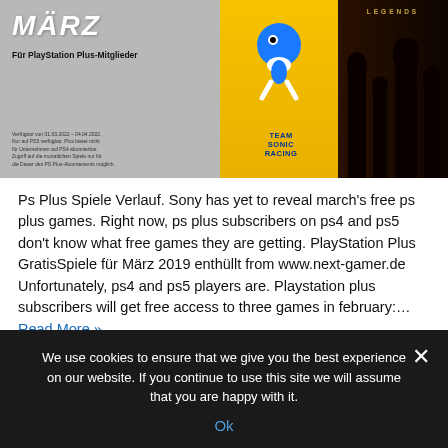[Figure (screenshot): PlayStation Plus März banner image showing Sonic Racing and Legends game covers]
Ps Plus Spiele Verlauf. Sony has yet to reveal march's free ps plus games. Right now, ps plus subscribers on ps4 and ps5 don't know what free games they are getting. PlayStation Plus GratisSpiele für März 2019 enthüllt from www.next-gamer.de Unfortunately, ps4 and ps5 players are. Playstation plus subscribers will get free access to three games in february:… Read More »
Nachrichten
plus
spiele
verlauf
We use cookies to ensure that we give you the best experience on our website. If you continue to use this site we will assume that you are happy with it.
Ok